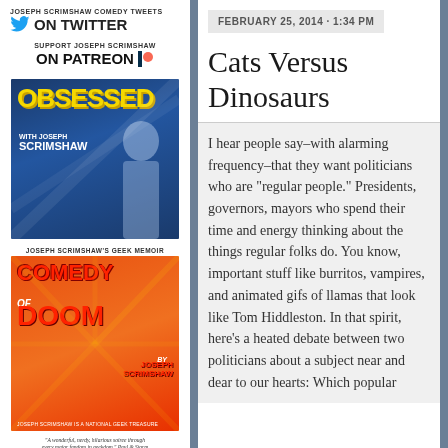[Figure (logo): Joseph Scrimshaw Comedy Tweets ON TWITTER with Twitter bird icon]
[Figure (logo): Support Joseph Scrimshaw ON PATREON with Patreon icon]
[Figure (photo): OBSESSED with Joseph Scrimshaw book/show cover - blue background with yellow text and person]
[Figure (photo): Joseph Scrimshaw's Geek Memoir: COMEDY OF DOOM by Joseph Scrimshaw - red/orange cover]
"A wonderful, nerdy, hilarious soiree through every major fandom in geekdom." Paul & Storm
FEBRUARY 25, 2014 · 1:34 PM
Cats Versus Dinosaurs
I hear people say–with alarming frequency–that they want politicians who are "regular people." Presidents, governors, mayors who spend their time and energy thinking about the things regular folks do. You know, important stuff like burritos, vampires, and animated gifs of llamas that look like Tom Hiddleston. In that spirit, here's a heated debate between two politicians about a subject near and dear to our hearts: Which popular